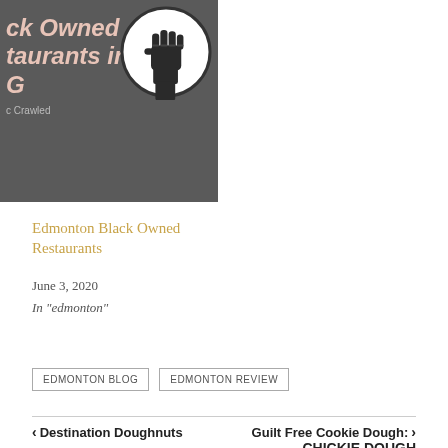[Figure (illustration): Dark grey banner image for 'Black Owned Restaurants in Edmonton' blog post, with bold italic pink/salmon text on dark background and a raised fist icon in a circle on the right side.]
Edmonton Black Owned Restaurants
June 3, 2020
In "edmonton"
EDMONTON BLOG
EDMONTON REVIEW
< Destination Doughnuts
Guilt Free Cookie Dough: > CHICKIE DOUGH